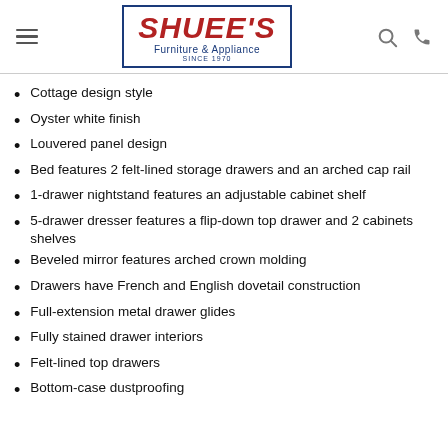SHUEE'S Furniture & Appliance SINCE 1970
Cottage design style
Oyster white finish
Louvered panel design
Bed features 2 felt-lined storage drawers and an arched cap rail
1-drawer nightstand features an adjustable cabinet shelf
5-drawer dresser features a flip-down top drawer and 2 cabinets shelves
Beveled mirror features arched crown molding
Drawers have French and English dovetail construction
Full-extension metal drawer glides
Fully stained drawer interiors
Felt-lined top drawers
Bottom-case dustproofing